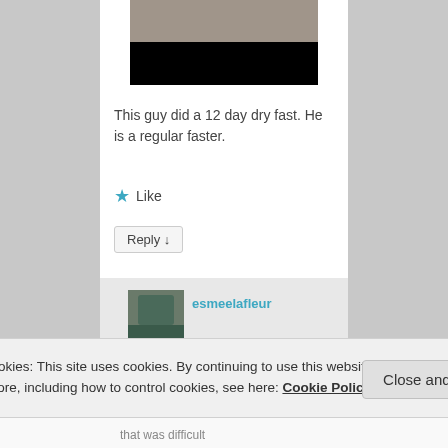[Figure (photo): Top portion of a person in a gray shirt with a black redaction bar over the lower face/text area]
This guy did a 12 day dry fast. He is a regular faster.
★ Like
Reply ↓
[Figure (photo): Small avatar thumbnail showing a person outdoors]
esmeelafleur
Privacy & Cookies: This site uses cookies. By continuing to use this website, you agree to their use.
To find out more, including how to control cookies, see here: Cookie Policy
Close and accept
that was difficult